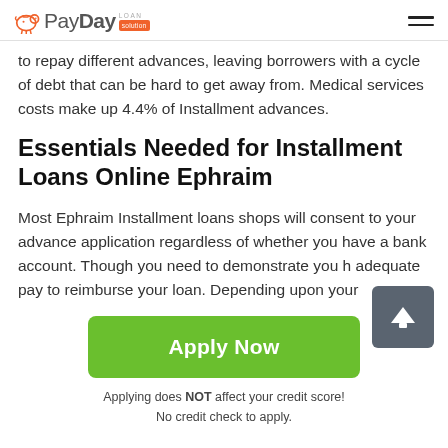PayDay Loan Solution
to repay different advances, leaving borrowers with a cycle of debt that can be hard to get away from. Medical services costs make up 4.4% of Installment advances.
Essentials Needed for Installment Loans Online Ephraim
Most Ephraim Installment loans shops will consent to your advance application regardless of whether you have a bank account. Though you need to demonstrate you have adequate pay to reimburse your loan. Depending upon your
Apply Now
Applying does NOT affect your credit score!
No credit check to apply.